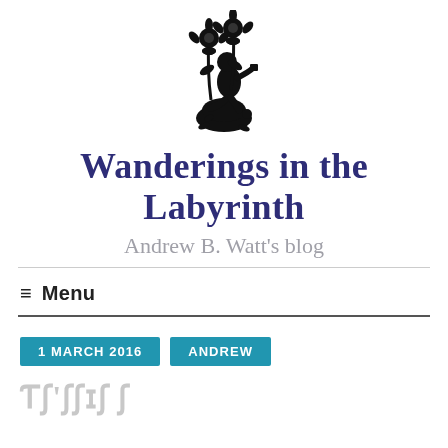[Figure (logo): Black silhouette illustration of a figure (child/cherub) riding or sitting on a turtle/tortoise, with large sunflower plants growing above]
Wanderings in the Labyrinth
Andrew B. Watt's blog
≡ Menu
1 MARCH 2016
ANDREW